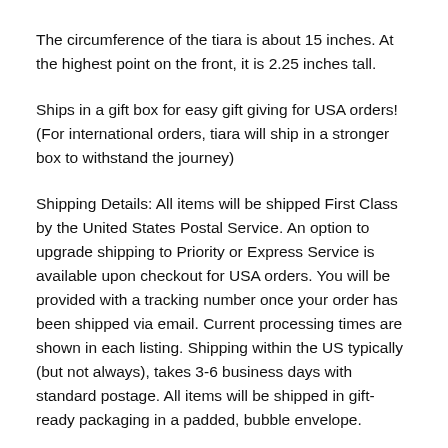The circumference of the tiara is about 15 inches. At the highest point on the front, it is 2.25 inches tall.
Ships in a gift box for easy gift giving for USA orders! (For international orders, tiara will ship in a stronger box to withstand the journey)
Shipping Details: All items will be shipped First Class by the United States Postal Service. An option to upgrade shipping to Priority or Express Service is available upon checkout for USA orders. You will be provided with a tracking number once your order has been shipped via email. Current processing times are shown in each listing. Shipping within the US typically (but not always), takes 3-6 business days with standard postage. All items will be shipped in gift-ready packaging in a padded, bubble envelope.